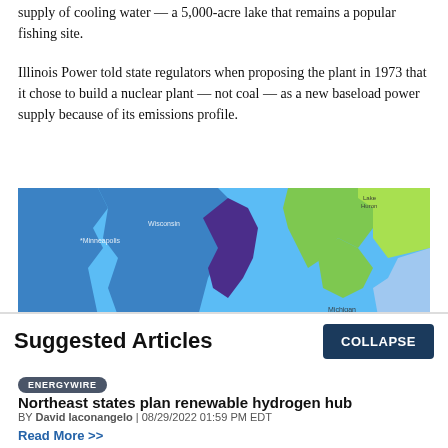supply of cooling water — a 5,000-acre lake that remains a popular fishing site.
Illinois Power told state regulators when proposing the plant in 1973 that it chose to build a nuclear plant — not coal — as a new baseload power supply because of its emissions profile.
[Figure (map): A map showing the Great Lakes region including Wisconsin, Minnesota, Michigan, and surrounding areas with blue water and colored land regions.]
Suggested Articles
ENERGYWIRE
Northeast states plan renewable hydrogen hub
BY David Iaconangelo | 08/29/2022 01:59 PM EDT
Read More >>
ENERGYWIRE
Trouble on pipeline's path hits home for Manchin